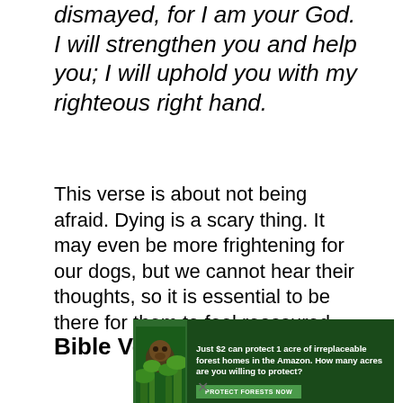dismayed, for I am your God. I will strengthen you and help you; I will uphold you with my righteous right hand.
This verse is about not being afraid. Dying is a scary thing. It may even be more frightening for our dogs, but we cannot hear their thoughts, so it is essential to be there for them to feel reassured.
Bible Verses About Dogs In
[Figure (infographic): Advertisement banner with forest/Amazon theme. Shows a primate in green foliage background. Text reads: 'Just $2 can protect 1 acre of irreplaceable forest homes in the Amazon. How many acres are you willing to protect?' with a green 'PROTECT FORESTS NOW' button.]